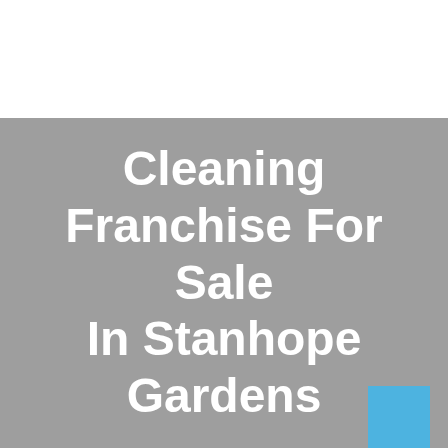Cleaning Franchise For Sale In Stanhope Gardens
[Figure (illustration): Small blue square decorative element in the bottom-right corner of the gray banner]